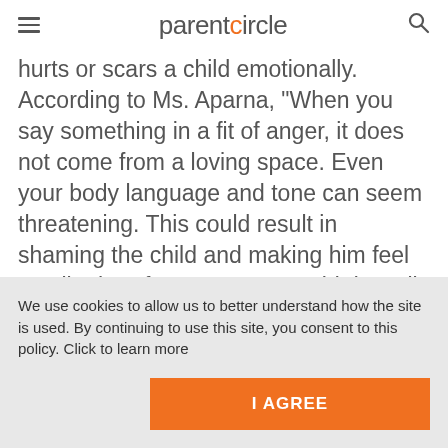parentcircle
hurts or scars a child emotionally. According to Ms. Aparna, "When you say something in a fit of anger, it does not come from a loving space. Even your body language and tone can seem threatening. This could result in shaming the child and making him feel small. Therefore, parents would do well to
We use cookies to allow us to better understand how the site is used. By continuing to use this site, you consent to this policy. Click to learn more
I AGREE